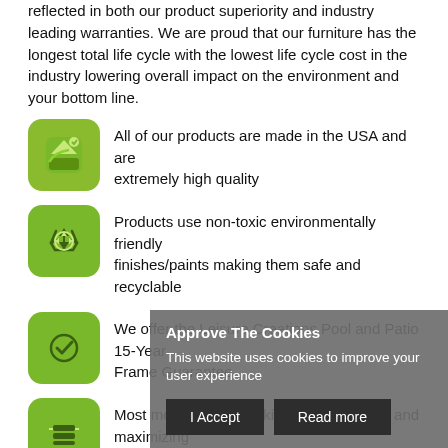reflected in both our product superiority and industry leading warranties. We are proud that our furniture has the longest total life cycle with the lowest life cycle cost in the industry lowering overall impact on the environment and your bottom line.
All of our products are made in the USA and are extremely high quality
Products use non-toxic environmentally friendly finishes/paints making them safe and recyclable
We offer the Leisure Creations Pool and Patio 15-Year Frame Guarantee
Most models stack making storage easier and maximizing a...
For mo... contact...
[Figure (screenshot): Cookie consent popup overlay with title 'Approve The Cookies', message 'This website uses cookies to improve your user experience', and two buttons: 'I Accept' and 'Read more']